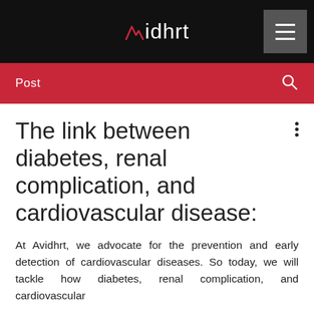Avidhrt — navigation bar with logo and hamburger menu
Post
The link between diabetes, renal complication, and cardiovascular disease:
At Avidhrt, we advocate for the prevention and early detection of cardiovascular diseases. So today, we will tackle how diabetes, renal complication, and cardiovascular